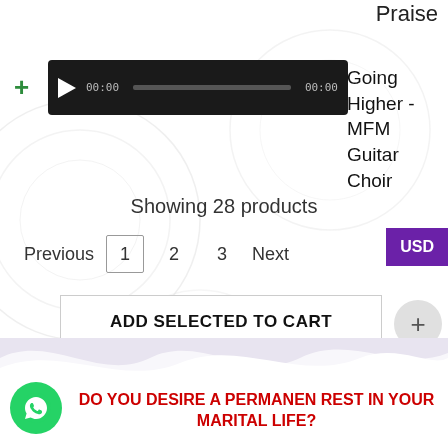Praise
[Figure (screenshot): Audio player with play button, time display 00:00, progress bar, and end time 00:00 on dark background]
Going Higher - MFM Guitar Choir
Showing 28 products
Previous 1 2 3 Next
USD
ADD SELECTED TO CART
DO YOU DESIRE A PERMANEN REST IN YOUR MARITAL LIFE?